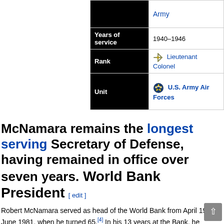| Field | Value |
| --- | --- |
|  | Army |
| Years of service | 1940–1946 |
| Rank | Lieutenant Colonel |
| Unit | U.S. Army Air Forces |
McNamara remains the longest serving Secretary of Defense, having remained in office over seven years. World Bank President [edit]
Robert McNamara served as head of the World Bank from April 1968 to June 1981, when he turned 65.[4] In his 13 years at the Bank, he introduced key changes, most notably, shifting the Bank's focus toward targeted poverty reduction. He negotiated